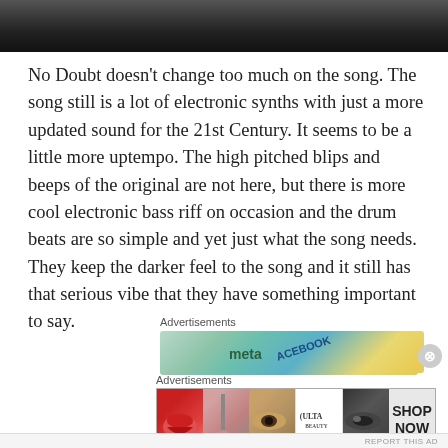[Figure (photo): Partial dark/black and white photo at top of page, showing what appears to be a person or performer]
No Doubt doesn't change too much on the song.  The song still is a lot of electronic synths with just a more updated sound for the 21st Century.  It seems to be a little more uptempo.  The high pitched blips and beeps of the original are not here, but there is more cool electronic bass riff on occasion and the drum beats are so simple and yet just what the song needs.  They keep the darker feel to the song and it still has that serious vibe that they have something important to say.
Advertisements
[Figure (photo): Advertisement banner showing Meta/Facebook branded content with teal and gold colors]
Advertisements
[Figure (photo): Ulta Beauty advertisement showing makeup imagery with lips, brush, eyes, Ulta logo, and SHOP NOW button]